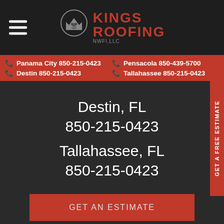[Figure (logo): Kings Roofing NWFl LLC logo with crown/king icon on dark background header]
Panama City 850-215-0423  Pensacola 850-439-5700  Destin 850-215-0423  Tallahassee 850-215-0423
Destin, FL
850-215-0423
Tallahassee, FL
850-215-0423
GET AN ESTIMATE
Panama City
Pensacola
GET A FREE ESTIMATE